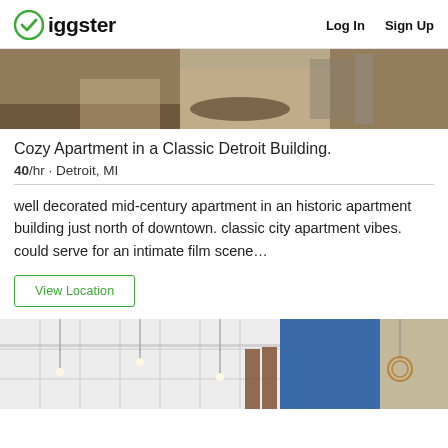Giggster  Log In  Sign Up
[Figure (photo): Interior photo of a cozy apartment showing a rug, furniture, and door with hardware — partial top crop]
Cozy Apartment in a Classic Detroit Building.
$40/hr · Detroit, MI
well decorated mid-century apartment in an historic apartment building just north of downtown. classic city apartment vibes. could serve for an intimate film scene…
View Location
[Figure (photo): Interior photo of a large space with pendant Edison bulbs, curtains, white tile walls, and blue windows in background]